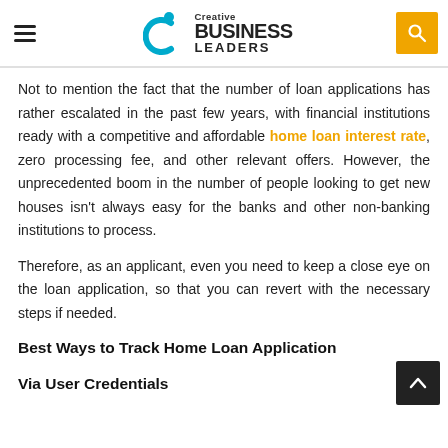Creative Business Leaders
Not to mention the fact that the number of loan applications has rather escalated in the past few years, with financial institutions ready with a competitive and affordable home loan interest rate, zero processing fee, and other relevant offers. However, the unprecedented boom in the number of people looking to get new houses isn't always easy for the banks and other non-banking institutions to process.
Therefore, as an applicant, even you need to keep a close eye on the loan application, so that you can revert with the necessary steps if needed.
Best Ways to Track Home Loan Application
Via User Credentials